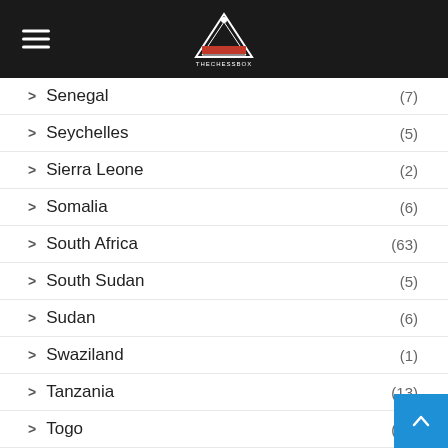TheChessBox logo and hamburger menu
Senegal (7)
Seychelles (5)
Sierra Leone (2)
Somalia (6)
South Africa (63)
South Sudan (5)
Sudan (6)
Swaziland (1)
Tanzania (13)
Togo (14)
Tunisia
Uganda (58)
Zambia (50)